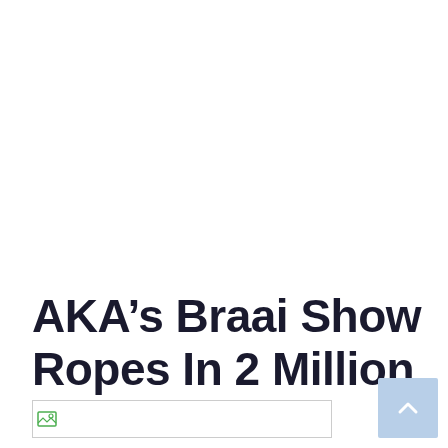AKA’s Braai Show Ropes In 2 Million Viewers
[Figure (photo): Broken image placeholder thumbnail]
[Figure (other): Scroll-to-top button with upward arrow icon, light blue background]